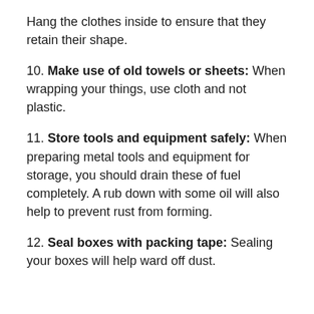Hang the clothes inside to ensure that they retain their shape.
10. Make use of old towels or sheets: When wrapping your things, use cloth and not plastic.
11. Store tools and equipment safely: When preparing metal tools and equipment for storage, you should drain these of fuel completely. A rub down with some oil will also help to prevent rust from forming.
12. Seal boxes with packing tape: Sealing your boxes will help ward off dust.